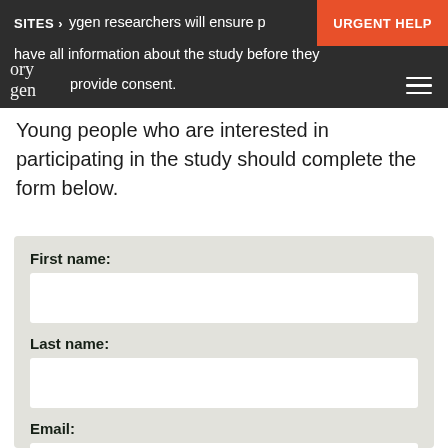Participation in the study is complete … SITES › ygen researchers will ensure … have all information about the study before they provide consent. URGENT HELP
Young people who are interested in participating in the study should complete the form below.
First name:
Last name:
Email: